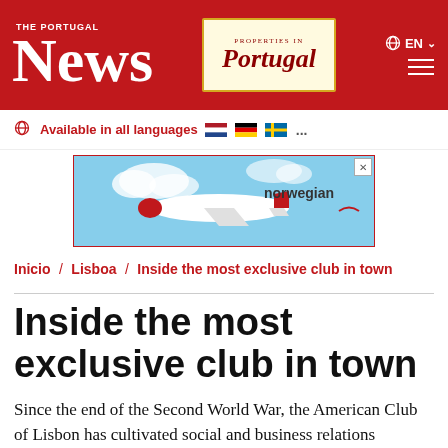THE PORTUGAL News | Properties in Portugal | EN
Available in all languages ...
[Figure (photo): Norwegian Air advertisement banner with a red and white airplane flying against a blue sky background]
Inicio / Lisboa / Inside the most exclusive club in town
Inside the most exclusive club in town
Since the end of the Second World War, the American Club of Lisbon has cultivated social and business relations between Americans and